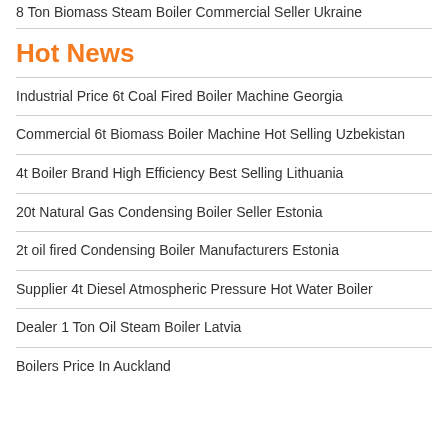8 Ton Biomass Steam Boiler Commercial Seller Ukraine
Hot News
Industrial Price 6t Coal Fired Boiler Machine Georgia
Commercial 6t Biomass Boiler Machine Hot Selling Uzbekistan
4t Boiler Brand High Efficiency Best Selling Lithuania
20t Natural Gas Condensing Boiler Seller Estonia
2t oil fired Condensing Boiler Manufacturers Estonia
Supplier 4t Diesel Atmospheric Pressure Hot Water Boiler
Dealer 1 Ton Oil Steam Boiler Latvia
Boilers Price In Auckland